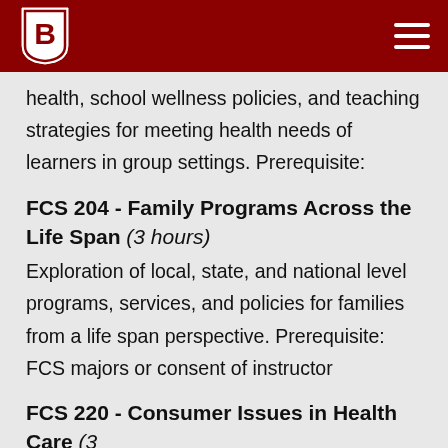Bradley University header with logo and navigation
health, school wellness policies, and teaching strategies for meeting health needs of learners in group settings. Prerequisite:
FCS 204 - Family Programs Across the Life Span (3 hours)
Exploration of local, state, and national level programs, services, and policies for families from a life span perspective. Prerequisite: FCS majors or consent of instructor
FCS 220 - Consumer Issues in Health Care (3 hours)